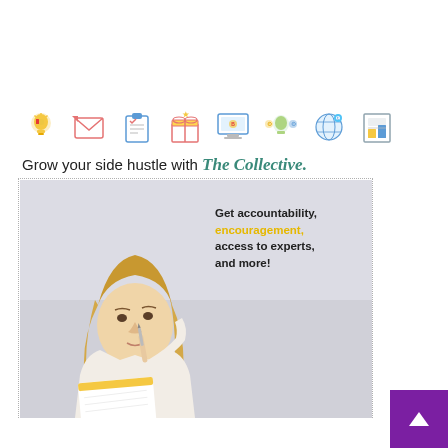[Figure (illustration): Row of 8 colorful flat icons representing business/side hustle concepts: lightbulb, email/envelope, clipboard, gift/package, computer monitor, idea lightbulb, social sharing globe, bar chart/report]
Grow your side hustle with The Collective.
[Figure (photo): Young blonde woman in white sweater holding a notebook/notepad, looking up thoughtfully with her finger to her chin, against a light grey studio background. Text overlay reads: Get accountability, encouragement, access to experts, and more!]